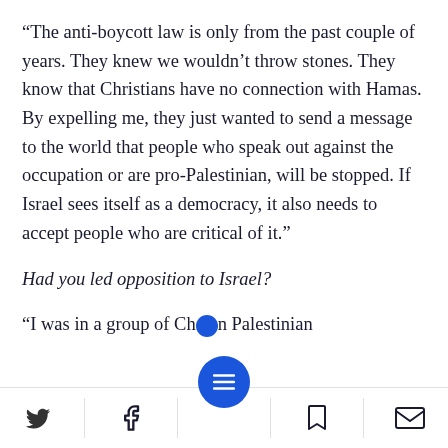“The anti-boycott law is only from the past couple of years. They knew we wouldn’t throw stones. They know that Christians have no connection with Hamas. By expelling me, they just wanted to send a message to the world that people who speak out against the occupation or are pro-Palestinian, will be stopped. If Israel sees itself as a democracy, it also needs to accept people who are critical of it.”
Had you led opposition to Israel?
“I was in a group of Ch…n Palestinian